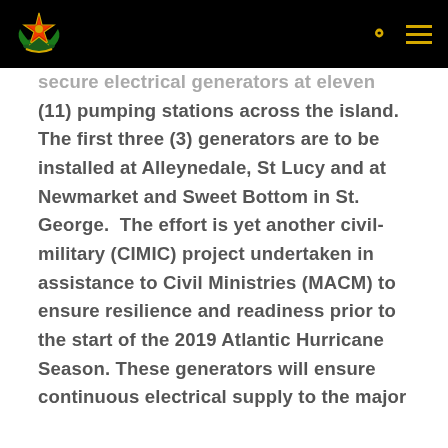[Barbados Defence Force logo] [search icon] [menu icon]
secure electrical generators at eleven (11) pumping stations across the island. The first three (3) generators are to be installed at Alleynedale, St Lucy and at Newmarket and Sweet Bottom in St. George. The effort is yet another civil-military (CIMIC) project undertaken in assistance to Civil Ministries (MACM) to ensure resilience and readiness prior to the start of the 2019 Atlantic Hurricane Season. These generators will ensure continuous electrical supply to the major